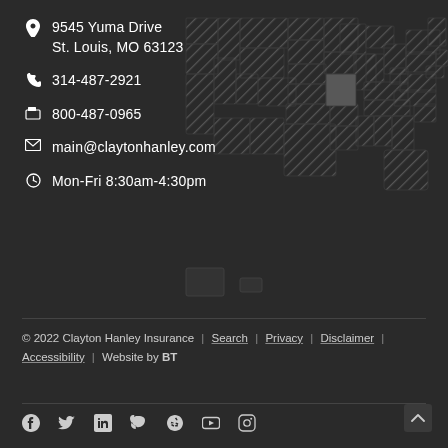[Figure (map): US map with hatched pattern over licensed states and Missouri highlighted in solid gray]
9545 Yuma Drive St. Louis, MO 63123
314-487-2921
800-487-0965
main@claytonhanley.com
Mon-Fri 8:30am-4:30pm
© 2022 Clayton Hanley Insurance | Search | Privacy | Disclaimer | Accessibility | Website by BT
[Figure (other): Social media icons: Facebook, Twitter, LinkedIn, Google+, Yelp, YouTube, Instagram]